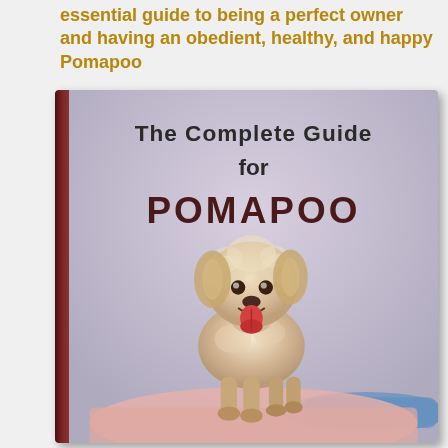essential guide to being a perfect owner and having an obedient, healthy, and happy Pomapoo
[Figure (photo): Book cover of 'The Complete Guide for POMAPOO' featuring a small fluffy cream/beige Pomapoo dog with tongue out, standing against a light lavender/grey background. Book has a dark red spine on the left side.]